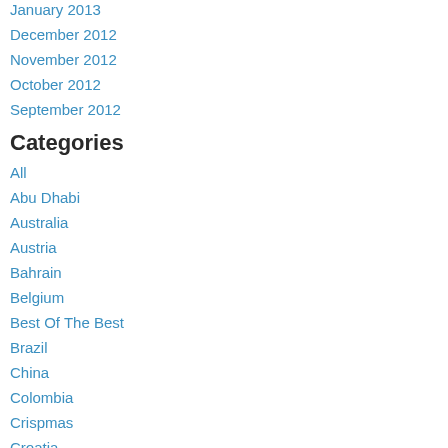January 2013
December 2012
November 2012
October 2012
September 2012
Categories
All
Abu Dhabi
Australia
Austria
Bahrain
Belgium
Best Of The Best
Brazil
China
Colombia
Crispmas
Croatia
Curiosities
Czech Republic